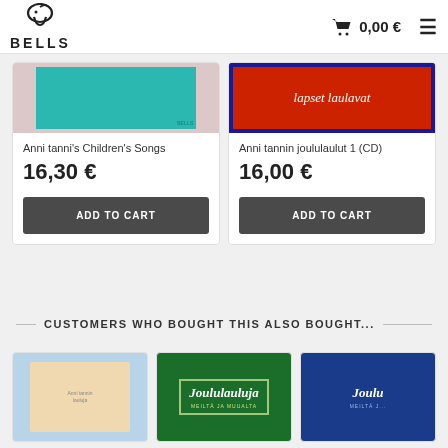BELLS | 0,00 €
[Figure (photo): Product image for Anni tanni's Children's Songs - teal/green album cover with pink border]
Anni tanni's Children's Songs
16,30 €
ADD TO CART
[Figure (photo): Product image for Anni tannin joululaulut 1 (CD) - red cover with cursive text 'lapset laulavat']
Anni tannin joululaulut 1 (CD)
16,00 €
ADD TO CART
CUSTOMERS WHO BOUGHT THIS ALSO BOUGHT...
[Figure (photo): Thumbnail of a light blue children's book/album cover]
[Figure (photo): Thumbnail of Joululauluja green album cover]
[Figure (photo): Thumbnail of Joulu blue album cover (partially visible)]